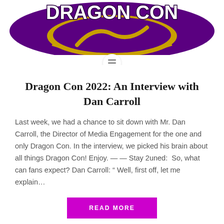[Figure (logo): Dragon Con logo — purple and gold badge-style logo with stylized dragon and 'DRAGON CON' text in bold purple letters with gold accents and TM mark]
Dragon Con 2022: An Interview with Dan Carroll
Last week, we had a chance to sit down with Mr. Dan Carroll, the Director of Media Engagement for the one and only Dragon Con. In the interview, we picked his brain about all things Dragon Con! Enjoy. — — Stay 2uned:  So, what can fans expect? Dan Carroll: " Well, first off, let me explain…
READ MORE